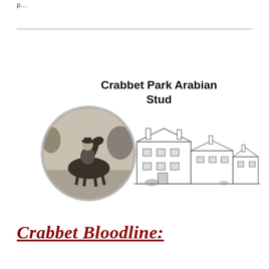...p...
[Figure (illustration): Composite image: bold title text 'Crabbet Park Arabian Stud', a circular black-and-white photograph of a person on horseback in a field, and a line drawing/sketch of a large country house estate building.]
Crabbet Bloodline: